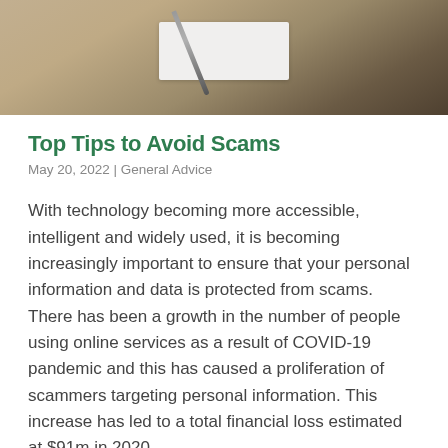[Figure (photo): A wooden desk surface with a pen and a white notepad or paper, photographed from above.]
Top Tips to Avoid Scams
May 20, 2022 | General Advice
With technology becoming more accessible, intelligent and widely used, it is becoming increasingly important to ensure that your personal information and data is protected from scams. There has been a growth in the number of people using online services as a result of COVID-19 pandemic and this has caused a proliferation of scammers targeting personal information. This increase has led to a total financial loss estimated at $91m in 2020.